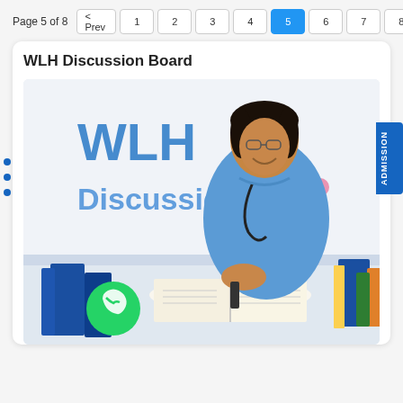Page 5 of 8  < Prev  1  2  3  4  5  6  7  8  Next >
WLH Discussion Board
[Figure (illustration): Promotional image showing a smiling nurse in blue scrubs with a stethoscope, sitting at a desk with open books and writing. Text overlay reads 'WLH Discussion' in blue. A green WhatsApp button icon is in the lower left corner. A pink dot appears in the upper right of the image.]